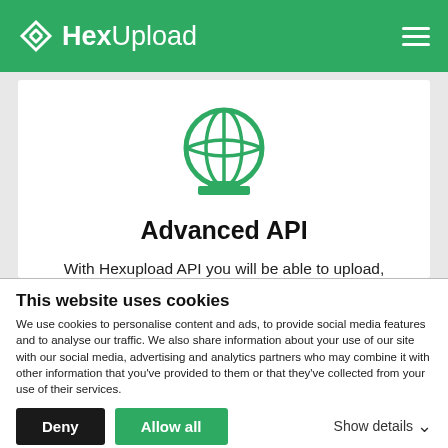HexUpload
[Figure (illustration): Green globe/network icon with horizontal base bar, representing API/internet connectivity]
Advanced API
With Hexupload API you will be able to upload, rename, get info and many things automatically for your apps or projects.
This website uses cookies
We use cookies to personalise content and ads, to provide social media features and to analyse our traffic. We also share information about your use of our site with our social media, advertising and analytics partners who may combine it with other information that you've provided to them or that they've collected from your use of their services.